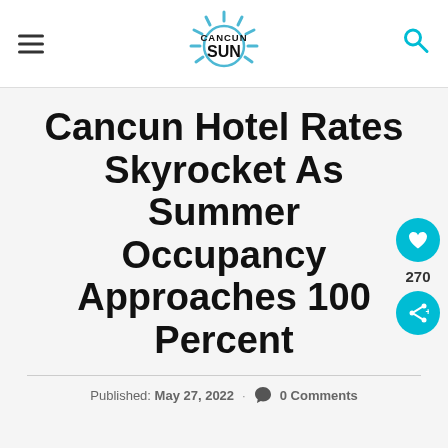Cancun Sun — navigation header with hamburger menu and search icon
Cancun Hotel Rates Skyrocket As Summer Occupancy Approaches 100 Percent
Published: May 27, 2022 · 0 Comments